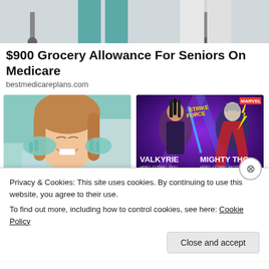[Figure (photo): Top cropped photo showing medical gurney/hospital equipment, legs of medical staff visible]
$900 Grocery Allowance For Seniors On Medicare
bestmedicareplans.com
[Figure (photo): Photo of a smiling young woman at the dentist, dental hygienist with teal gloves touching her face]
[Figure (photo): Marvel Strike Force game ad showing Valkyrie and Mighty Thor characters with star ratings]
What Should Full Mouth Dental Implants Cost You
iPhone owners are obsessed with this Marve
Privacy & Cookies: This site uses cookies. By continuing to use this website, you agree to their use.
To find out more, including how to control cookies, see here: Cookie Policy
Close and accept